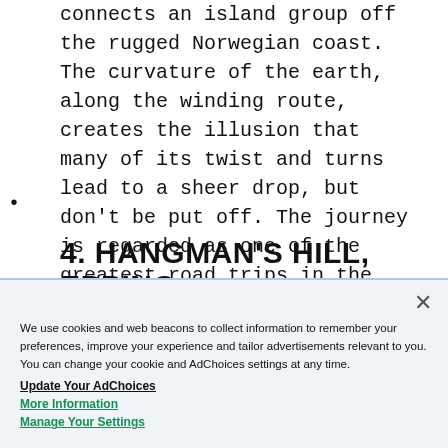connects an island group off the rugged Norwegian coast. The curvature of the earth, along the winding route, creates the illusion that many of its twist and turns lead to a sheer drop, but don't be put off. The journey is regarded as one of the greatest road trips in the world.
4. HANGMAN'S HILL, EPPING
We use cookies and web beacons to collect information to remember your preferences, improve your experience and tailor advertisements relevant to you. You can change your cookie and AdChoices settings at any time.
Update Your AdChoices
More Information
Manage Your Settings